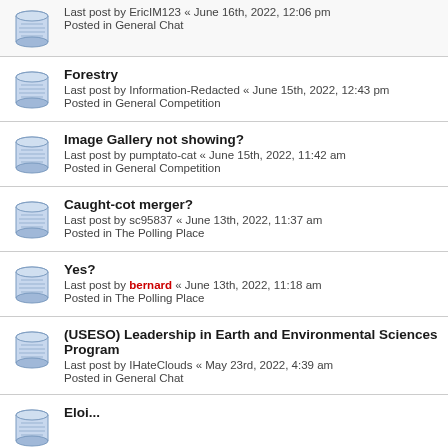Last post by EricIM123 « June 16th, 2022, 12:06 pm
Posted in General Chat
Forestry
Last post by Information-Redacted « June 15th, 2022, 12:43 pm
Posted in General Competition
Image Gallery not showing?
Last post by pumptato-cat « June 15th, 2022, 11:42 am
Posted in General Competition
Caught-cot merger?
Last post by sc95837 « June 13th, 2022, 11:37 am
Posted in The Polling Place
Yes?
Last post by bernard « June 13th, 2022, 11:18 am
Posted in The Polling Place
(USESO) Leadership in Earth and Environmental Sciences Program
Last post by IHateClouds « May 23rd, 2022, 4:39 am
Posted in General Chat
Eloi...